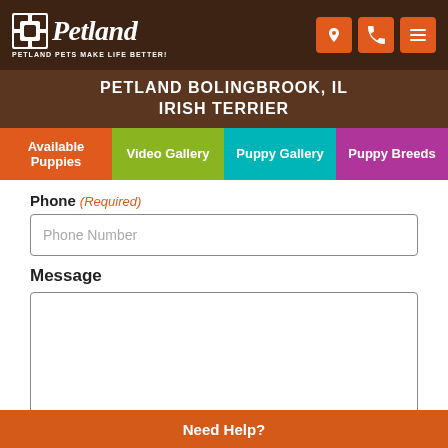[Figure (logo): Petland logo with pet icon and tagline 'Petland Pets Make Life Better!']
PETLAND BOLINGBROOK, IL
IRISH TERRIER
Available Puppies | Video Gallery | Puppy Gallery | Puppy Breeds
Phone (Required)
Phone Number
Message
Need Help?